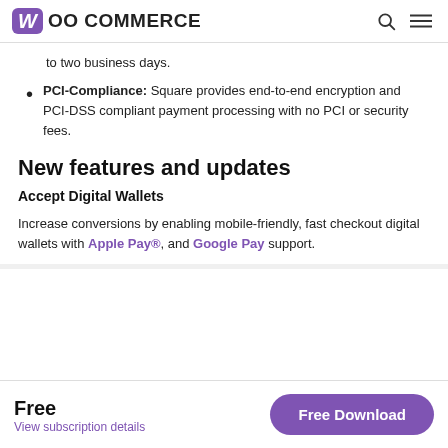WooCommerce
to two business days.
PCI-Compliance: Square provides end-to-end encryption and PCI-DSS compliant payment processing with no PCI or security fees.
New features and updates
Accept Digital Wallets
Increase conversions by enabling mobile-friendly, fast checkout digital wallets with Apple Pay®, and Google Pay support.
Free
View subscription details
Free Download